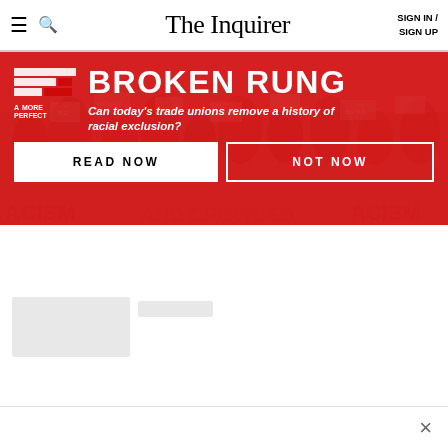The Inquirer — SIGN IN / SIGN UP
[Figure (illustration): Red banner advertisement for 'Broken Rung' article series by A More Perfect Union, with protest crowd background. Headline: BROKEN RUNG. Subheadline: Can today's trade unions remove a history of racial exclusion? Two buttons: READ NOW and NOT NOW.]
READ NOW
NOT NOW
[Figure (photo): Loading placeholder gray rectangles representing article thumbnails and tags below the banner.]
×